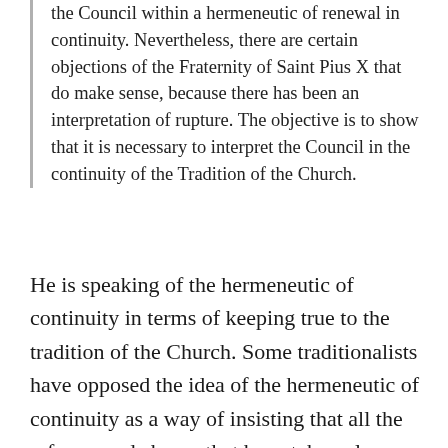the Council within a hermeneutic of renewal in continuity. Nevertheless, there are certain objections of the Fraternity of Saint Pius X that do make sense, because there has been an interpretation of rupture. The objective is to show that it is necessary to interpret the Council in the continuity of the Tradition of the Church.
He is speaking of the hermeneutic of continuity in terms of keeping true to the tradition of the Church. Some traditionalists have opposed the idea of the hermeneutic of continuity as a way of insisting that all the reforms and abuses that have taken place since Vatican II must